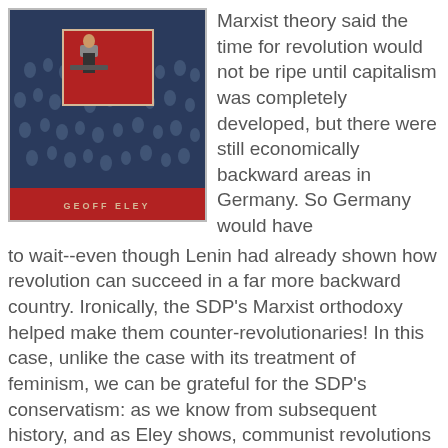[Figure (photo): Book cover of a work by Geoff Eley, showing a large crowd in blue-toned black and white, with a red inset image of a figure at a podium, and a red banner at the bottom reading 'GEOFF ELEY']
Marxist theory said the time for revolution would not be ripe until capitalism was completely developed, but there were still economically backward areas in Germany. So Germany would have to wait--even though Lenin had already shown how revolution can succeed in a far more backward country. Ironically, the SDP's Marxist orthodoxy helped make them counter-revolutionaries! In this case, unlike the case with its treatment of feminism, we can be grateful for the SDP's conservatism: as we know from subsequent history, and as Eley shows, communist revolutions have not turned out so well for the people whose liberation the communists promised. Of course, there were